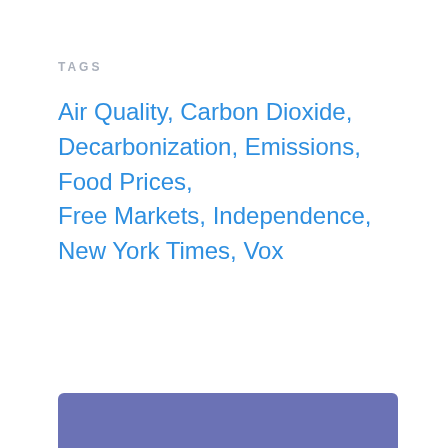TAGS
Air Quality, Carbon Dioxide, Decarbonization, Emissions, Food Prices, Free Markets, Independence, New York Times, Vox
[Figure (other): Blue-purple rectangular block at bottom of page]